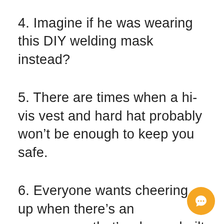4. Imagine if he was wearing this DIY welding mask instead?
5. There are times when a hi-vis vest and hard hat probably won't be enough to keep you safe.
6. Everyone wants cheering up when there's an emergency, that's why we built this fun-packed obstacle course to the fire exit